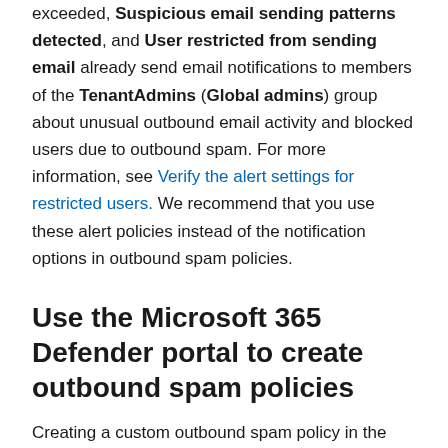exceeded, Suspicious email sending patterns detected, and User restricted from sending email already send email notifications to members of the TenantAdmins (Global admins) group about unusual outbound email activity and blocked users due to outbound spam. For more information, see Verify the alert settings for restricted users. We recommend that you use these alert policies instead of the notification options in outbound spam policies.
Use the Microsoft 365 Defender portal to create outbound spam policies
Creating a custom outbound spam policy in the Microsoft 365 Defender portal creates the spam filter rule and the associated spam filter policy at the same time using the same name for both.